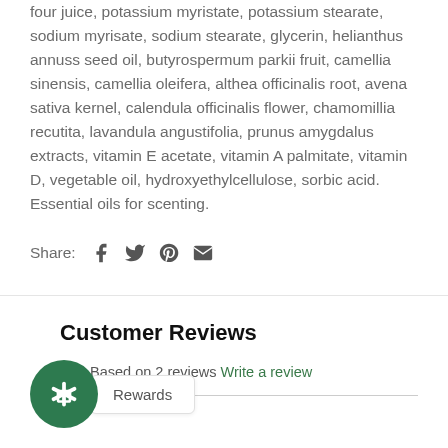four juice, potassium myristate, potassium stearate, sodium myrisate, sodium stearate, glycerin, helianthus annuss seed oil, butyrospermum parkii fruit, camellia sinensis, camellia oleifera, althea officinalis root, avena sativa kernel, calendula officinalis flower, chamomillia recutita, lavandula angustifolia, prunus amygdalus extracts, vitamin E acetate, vitamin A palmitate, vitamin D, vegetable oil, hydroxyethylcellulose, sorbic acid. Essential oils for scenting.
Share:
Customer Reviews
Based on 2 reviews Write a review